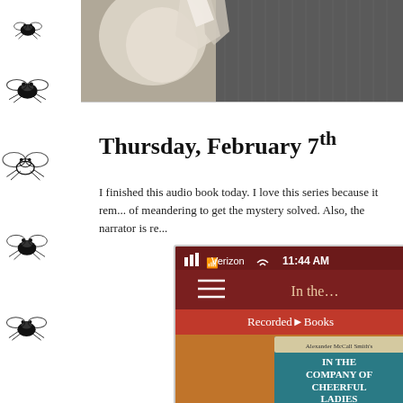[Figure (photo): Black and white photograph cropped showing a person in a striped suit near the top of the page]
[Figure (illustration): Decorative left sidebar with multiple black hand-drawn fly/bee illustrations on white background]
Thursday, February 7th
I finished this audio book today. I love this series because it rem... of meandering to get the mystery solved. Also, the narrator is re...
[Figure (screenshot): Mobile phone app screenshot showing Verizon carrier, 11:44 AM, In the..., Recorded Books app with book cover 'In the Company of Cheerful Ladies' by Alexander McCall Smith on orange/teal background]